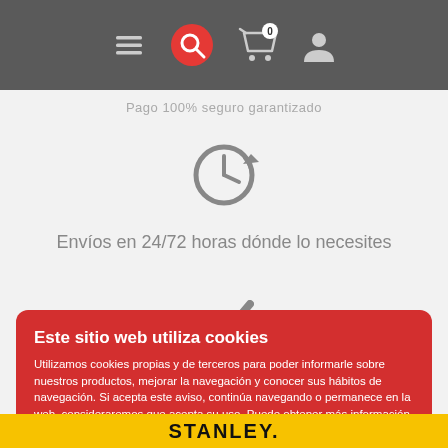[Figure (screenshot): Website navigation bar with hamburger menu icon, red search icon with magnifying glass, cart icon with badge showing 0, and user profile icon]
Pago 100% seguro garantizado
[Figure (illustration): Gray clock icon with refresh/history arrow]
Envíos en 24/72 horas dónde lo necesites
[Figure (illustration): Gray checkmark icon]
Este sitio web utiliza cookies
Utilizamos cookies propias y de terceros para poder informarle sobre nuestros productos, mejorar la navegación y conocer sus hábitos de navegación. Si acepta este aviso, continúa navegando o permanece en la web, consideraremos que acepta su uso. Puede obtener más información, o bien conocer cómo cambiar la configuración. Mas informacion
Guardar
Cambiar ajustes
[Figure (logo): Stanley brand logo in black lettering on yellow background]